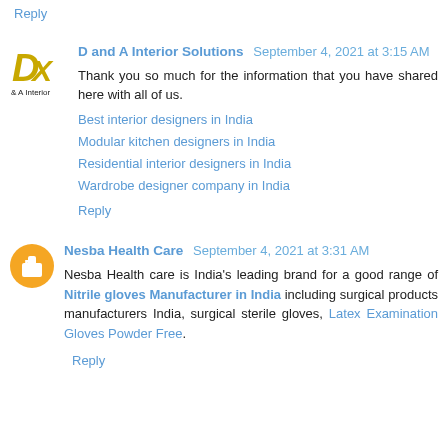Reply
D and A Interior Solutions  September 4, 2021 at 3:15 AM
Thank you so much for the information that you have shared here with all of us.
Best interior designers in India
Modular kitchen designers in India
Residential interior designers in India
Wardrobe designer company in India
Reply
Nesba Health Care  September 4, 2021 at 3:31 AM
Nesba Health care is India's leading brand for a good range of Nitrile gloves Manufacturer in India including surgical products manufacturers India, surgical sterile gloves, Latex Examination Gloves Powder Free.
Reply